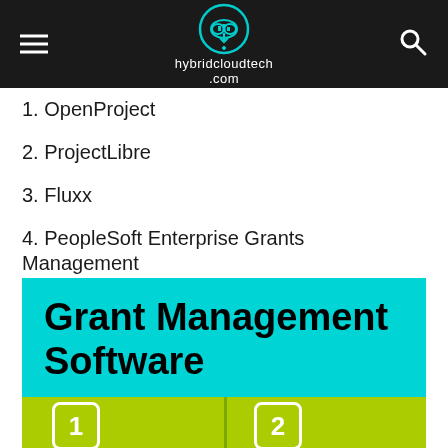hybridcloudtech.com
1. OpenProject
2. ProjectLibre
3. Fluxx
4. PeopleSoft Enterprise Grants Management
5. Wizehive
6. GrantHub
7. Award Force for Grants Starter
[Figure (infographic): Cyan banner with text 'Grant Management Software' and a green section below with numbered boxes 1 and 2]